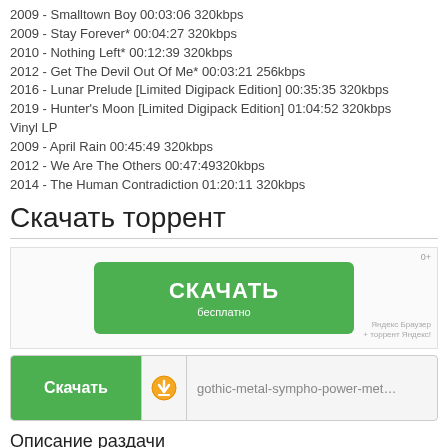2009 - Smalltown Boy 00:03:06 320kbps
2009 - Stay Forever* 00:04:27 320kbps
2010 - Nothing Left* 00:12:39 320kbps
2012 - Get The Devil Out Of Me* 00:03:21 256kbps
2016 - Lunar Prelude [Limited Digipack Edition] 00:35:35 320kbps
2019 - Hunter's Moon [Limited Digipack Edition] 01:04:52 320kbps
Vinyl LP
2009 - April Rain 00:45:49 320kbps
2012 - We Are The Others 00:47:49320kbps
2014 - The Human Contradiction 01:20:11 320kbps
Скачать торрент
[Figure (screenshot): Green download button labeled СКАЧАТЬ бесплатно with Яндекс Браузер branding and 0+ label]
[Figure (screenshot): Download row with green Скачать button, torrent icon, and filename gothic-metal-sympho-power-met...]
Описание раздачи
Скачать Delain - Дискография через торрент в формате МР3 192-320 kbps бесплатно. Нидерландская группа Delain играющая в жанре Gothic Metal / Symphonic Power Metal, который является основным жанром этой группы, записано "Дискографию", дата выхода состоялась в 2002